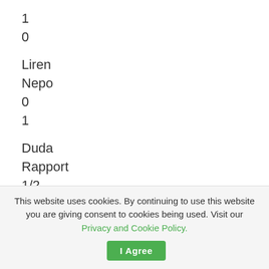1
0
Liren
Nepo
0
1
Duda
Rapport
1/2
1/2
Aronian
MVL
This website uses cookies. By continuing to use this website you are giving consent to cookies being used. Visit our Privacy and Cookie Policy.